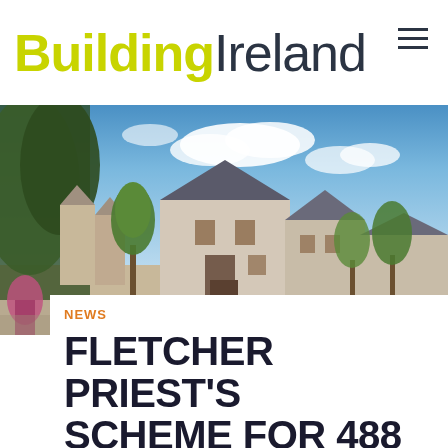Building Ireland
[Figure (photo): Architectural rendering of a residential housing development showing stone-clad houses with pitched roofs, tree-lined street, blue sky with clouds]
NEWS
FLETCHER PRIEST'S SCHEME FOR 488